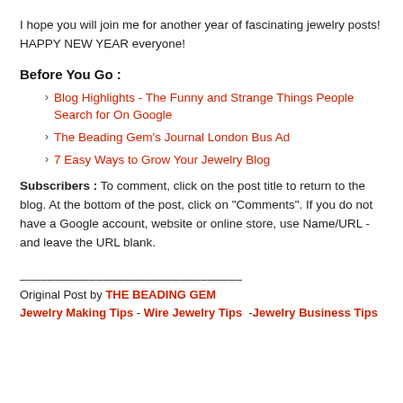I hope you will join me for another year of fascinating jewelry posts! HAPPY NEW YEAR everyone!
Before You Go :
Blog Highlights - The Funny and Strange Things People Search for On Google
The Beading Gem's Journal London Bus Ad
7 Easy Ways to Grow Your Jewelry Blog
Subscribers : To comment, click on the post title to return to the blog. At the bottom of the post, click on "Comments". If you do not have a Google account, website or online store, use Name/URL - and leave the URL blank.
Original Post by THE BEADING GEM Jewelry Making Tips - Wire Jewelry Tips  -Jewelry Business Tips